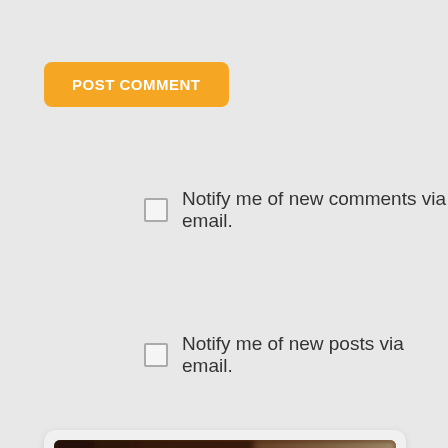POST COMMENT
Notify me of new comments via email.
Notify me of new posts via email.
[Figure (photo): Book cover of a Laird Barron novel — 'AN ISAIAH COLERIDGE NOVEL' — showing blurred dark reddish-brown motion-blur background with large distressed white text reading LAIRD BARRON]